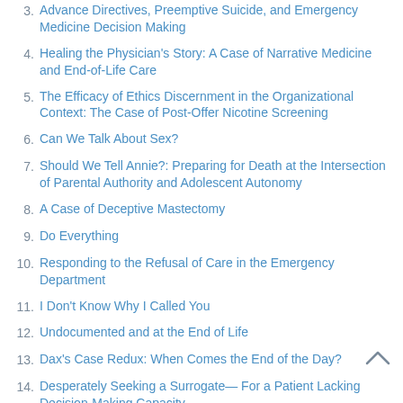3. Advance Directives, Preemptive Suicide, and Emergency Medicine Decision Making
4. Healing the Physician's Story: A Case of Narrative Medicine and End-of-Life Care
5. The Efficacy of Ethics Discernment in the Organizational Context: The Case of Post-Offer Nicotine Screening
6. Can We Talk About Sex?
7. Should We Tell Annie?: Preparing for Death at the Intersection of Parental Authority and Adolescent Autonomy
8. A Case of Deceptive Mastectomy
9. Do Everything
10. Responding to the Refusal of Care in the Emergency Department
11. I Don't Know Why I Called You
12. Undocumented and at the End of Life
13. Dax's Case Redux: When Comes the End of the Day?
14. Desperately Seeking a Surrogate— For a Patient Lacking Decision-Making Capacity